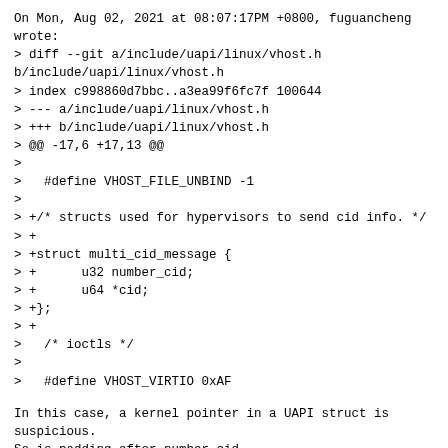On Mon, Aug 02, 2021 at 08:07:17PM +0800, fuguancheng wrote:
> diff --git a/include/uapi/linux/vhost.h b/include/uapi/linux/vhost.h
> index c998860d7bbc..a3ea99f6fc7f 100644
> --- a/include/uapi/linux/vhost.h
> +++ b/include/uapi/linux/vhost.h
> @@ -17,6 +17,13 @@
>
>   #define VHOST_FILE_UNBIND -1
>
> +/* structs used for hypervisors to send cid info. */
> +
> +struct multi_cid_message {
> +      u32 number_cid;
> +      u64 *cid;
> +};
> +
>   /* ioctls */
>
>   #define VHOST_VIRTIO 0xAF
In this case, a kernel pointer in a UAPI struct is suspicious.
So is padding after number_cid.
--
MST